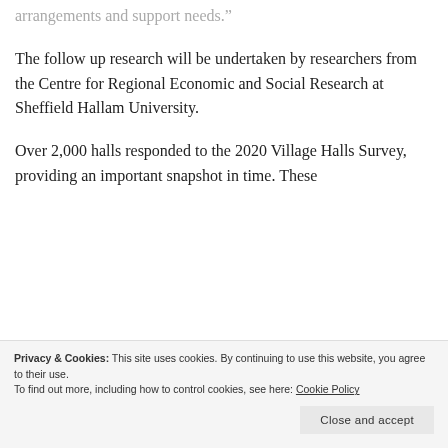arrangements and support needs.”
The follow up research will be undertaken by researchers from the Centre for Regional Economic and Social Research at Sheffield Hallam University.
Over 2,000 halls responded to the 2020 Village Halls Survey, providing an important snapshot in time. These
Privacy & Cookies: This site uses cookies. By continuing to use this website, you agree to their use. To find out more, including how to control cookies, see here: Cookie Policy
Close and accept